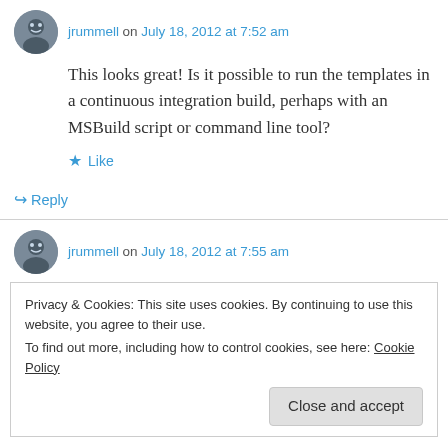jrummell on July 18, 2012 at 7:52 am
This looks great! Is it possible to run the templates in a continuous integration build, perhaps with an MSBuild script or command line tool?
Like
Reply
jrummell on July 18, 2012 at 7:55 am
Privacy & Cookies: This site uses cookies. By continuing to use this website, you agree to their use.
To find out more, including how to control cookies, see here: Cookie Policy
Close and accept